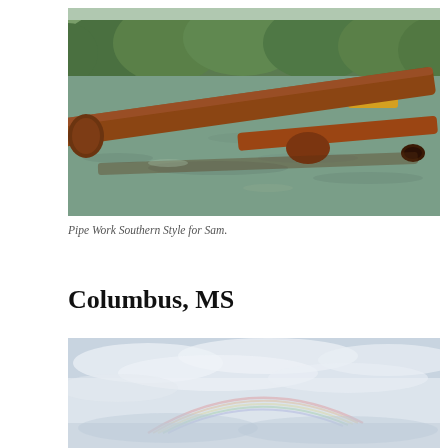[Figure (photo): Rusty industrial pipes floating or lying in a river or lake with murky greenish water. Trees visible in the background on the far shore. Yellow equipment visible in the distance.]
Pipe Work Southern Style for Sam.
Columbus, MS
[Figure (photo): Overcast sky with light grey and white clouds, partial rainbow visible near the horizon. Taken from a low angle showing mostly sky.]